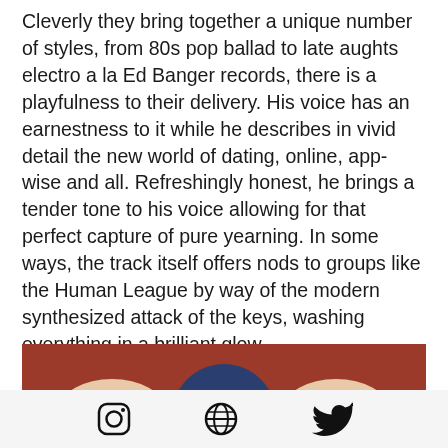Cleverly they bring together a unique number of styles, from 80s pop ballad to late aughts electro a la Ed Banger records, there is a playfulness to their delivery. His voice has an earnestness to it while he describes in vivid detail the new world of dating, online, app-wise and all. Refreshingly honest, he brings a tender tone to his voice allowing for that perfect capture of pure yearning. In some ways, the track itself offers nods to groups like the Human League by way of the modern synthesized attack of the keys, washing everything in a brilliant glow.
[Figure (photo): Partial view of a person holding or wearing something with a dark blue/navy circular object against a dark red/brown background]
[Figure (other): Social media icon bar showing Instagram, globe/website, and Twitter icons]